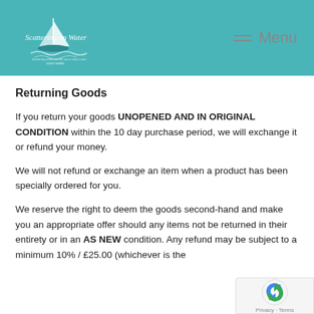[Figure (logo): Scattering on Water logo with sailboat illustration and tagline, teal/turquoise header background with Menu navigation]
Returning Goods
If you return your goods UNOPENED AND IN ORIGINAL CONDITION within the 10 day purchase period, we will exchange it or refund your money.
We will not refund or exchange an item when a product has been specially ordered for you.
We reserve the right to deem the goods second-hand and make you an appropriate offer should any items not be returned in their entirety or in an AS NEW condition. Any refund may be subject to a minimum 10% / £25.00 (whichever is the